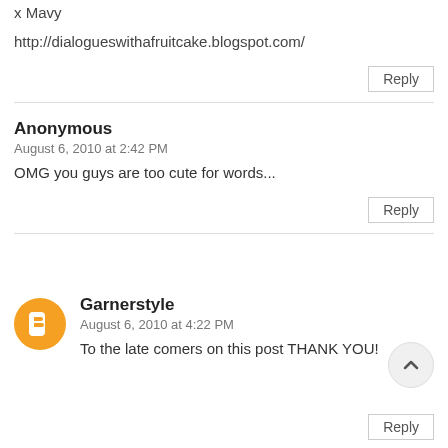x Mavy
http://dialogueswithafruitcake.blogspot.com/
Reply
Anonymous
August 6, 2010 at 2:42 PM
OMG you guys are too cute for words...
Reply
Garnerstyle
August 6, 2010 at 4:22 PM
To the late comers on this post THANK YOU!
Reply